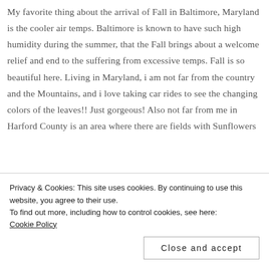My favorite thing about the arrival of Fall in Baltimore, Maryland is the cooler air temps. Baltimore is known to have such high humidity during the summer, that the Fall brings about a welcome relief and end to the suffering from excessive temps. Fall is so beautiful here. Living in Maryland, i am not far from the country and the Mountains, and i love taking car rides to see the changing colors of the leaves!! Just gorgeous! Also not far from me in Harford County is an area where there are fields with Sunflowers
Privacy & Cookies: This site uses cookies. By continuing to use this website, you agree to their use.
To find out more, including how to control cookies, see here:
Cookie Policy
Close and accept